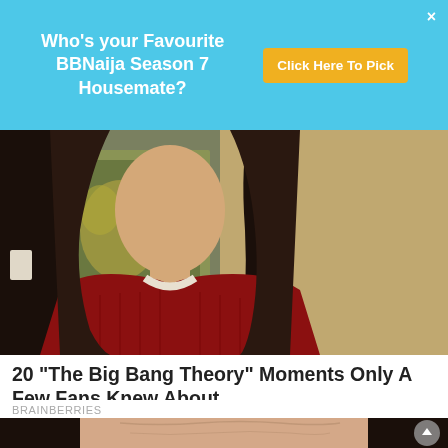[Figure (screenshot): Advertisement banner with sky-blue background. Text reads: 'Who's your Favourite BBNaija Season 7 Housemate?' with a yellow 'Click Here To Pick' button and an X close icon.]
[Figure (photo): Photo of a woman with long dark hair wearing a red cardigan over a patterned shirt, seated indoors.]
20 "The Big Bang Theory" Moments Only A Few Fans Knew About
BRAINBERRIES
[Figure (photo): Photo of a person with dark hair making a scrunched facial expression, eyes closed and face squished together.]